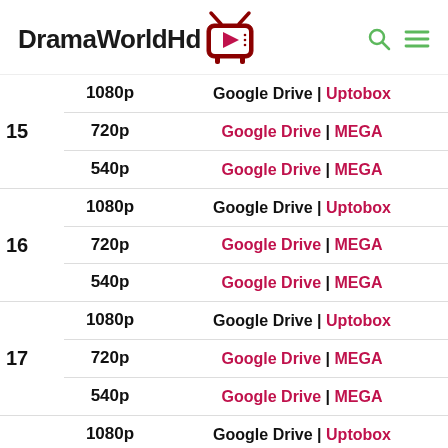[Figure (logo): DramaWorldHd logo with TV icon]
| Episode | Resolution | Links |
| --- | --- | --- |
| 15 | 1080p | Google Drive | Uptobox |
| 15 | 720p | Google Drive | MEGA |
| 15 | 540p | Google Drive | MEGA |
| 16 | 1080p | Google Drive | Uptobox |
| 16 | 720p | Google Drive | MEGA |
| 16 | 540p | Google Drive | MEGA |
| 17 | 1080p | Google Drive | Uptobox |
| 17 | 720p | Google Drive | MEGA |
| 17 | 540p | Google Drive | MEGA |
| 18 | 1080p | Google Drive | Uptobox |
| 18 | 720p | Google Drive | MEGA |
| 18 | 540p | Google Drive | MEGA |
| 19 | 1080p | Google Drive | Uptobox |
| 19 | 720p | Google Drive | MEGA |
| 19 | 540p | Google Drive | MEGA |
| 19 |  | Google Drive |
| 20 | 1080p | Google Drive | Uptobox |